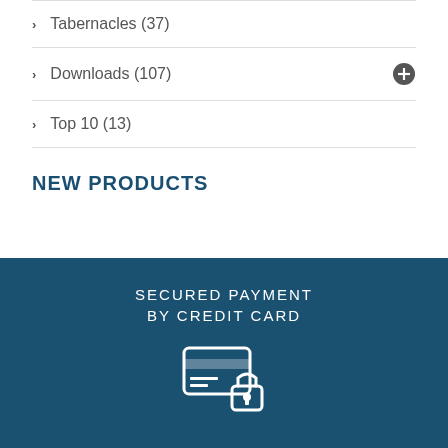Tabernacles (37)
Downloads (107)
Top 10 (13)
NEW PRODUCTS
SECURED PAYMENT BY CREDIT CARD
[Figure (illustration): Credit card with lock icon, white outline on dark blue background]